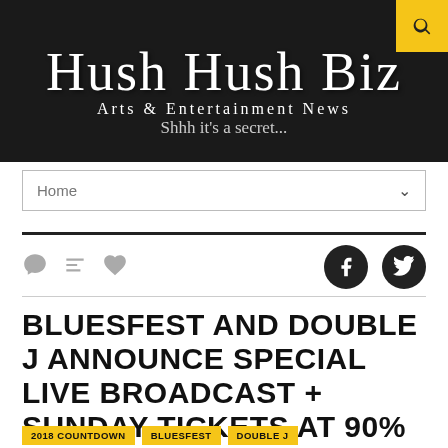[Figure (logo): Hush Hush Biz logo with script font on black background, subtitle 'Arts & Entertainment News' and tagline 'Shhh it's a secret']
Home
BLUESFEST AND DOUBLE J ANNOUNCE SPECIAL LIVE BROADCAST + SUNDAY TICKETS AT 90% SOLD OUT!
2018 COUNTDOWN   BLUESFEST   DOUBLE J